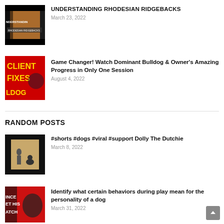[Figure (photo): Thumbnail image for Understanding Rhodesian Ridgebacks video, showing a brown dog with black overlay and text NDERSTANDIN RHODESIAN RIDGEBACKS]
UNDERSTANDING RHODESIAN RIDGEBACKS
March 23, 2022
[Figure (photo): Thumbnail image for Client Fixes Bulldog video, red background with yellow text CLIENT FIXES and LDOG with a dog illustration]
Game Changer! Watch Dominant Bulldog & Owner's Amazing Progress in Only One Session
August 4, 2022
RANDOM POSTS
[Figure (photo): Thumbnail showing a person training a dog outdoors, dark overlay borders]
#shorts #dogs #viral #support Dolly The Dutchie
March 8, 2022
[Figure (photo): Thumbnail showing a dog, partially visible, red background with text INCE ET HIS ATCH]
Identify what certain behaviors during play mean for the personality of a dog
March 31, 2022